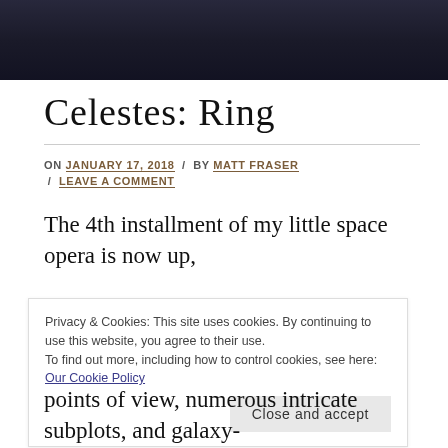[Figure (photo): Dark banner image at top of webpage, appears to be a space or night sky themed image]
Celestes: Ring
ON JANUARY 17, 2018 / BY MATT FRASER / LEAVE A COMMENT
The 4th installment of my little space opera is now up,
Privacy & Cookies: This site uses cookies. By continuing to use this website, you agree to their use. To find out more, including how to control cookies, see here: Our Cookie Policy
points of view, numerous intricate subplots, and galaxy-